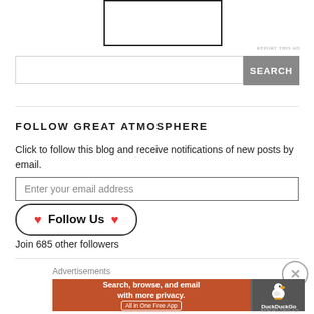[Figure (other): Advertisement placeholder box with dark border at top of page]
REPORT THIS AD
[Figure (screenshot): Search bar with text input and SEARCH button]
FOLLOW GREAT ATMOSPHERE
Click to follow this blog and receive notifications of new posts by email.
[Figure (screenshot): Email input field with placeholder 'Enter your email address']
[Figure (screenshot): Follow Us button with heart icons on both sides, rounded pill shape]
Join 685 other followers
Advertisements
[Figure (screenshot): DuckDuckGo advertisement banner: 'Search, browse, and email with more privacy. All in One Free App' with DuckDuckGo duck logo on dark right panel]
REPORT THIS AD